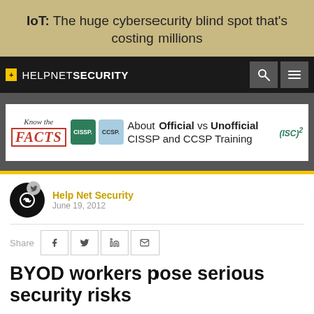IoT: The huge cybersecurity blind spot that's costing millions
[Figure (logo): Help Net Security navigation bar with logo, search icon, and menu icon]
[Figure (other): Advertisement banner: Know the FACTS About Official vs Unofficial CISSP and CCSP Training - (ISC)2]
Help Net Security - June 19, 2012
BYOD workers pose serious security risks
Fortinet conducted a global survey that reveals the extent